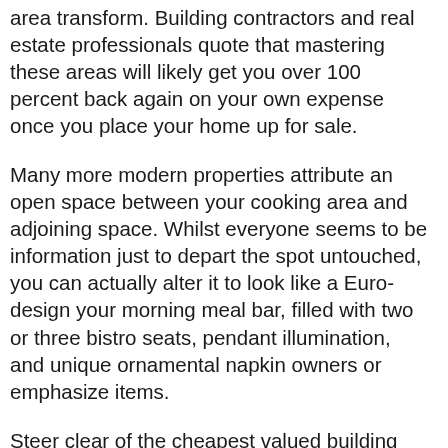area transform. Building contractors and real estate professionals quote that mastering these areas will likely get you over 100 percent back again on your own expense once you place your home up for sale.
Many more modern properties attribute an open space between your cooking area and adjoining space. Whilst everyone seems to be information just to depart the spot untouched, you can actually alter it to look like a Euro-design your morning meal bar, filled with two or three bistro seats, pendant illumination, and unique ornamental napkin owners or emphasize items.
Steer clear of the cheapest valued building contractors. Whilst in the beginning it could seem nearly as good bargain, several building contractors lower ball a task and then begin to add-on fees